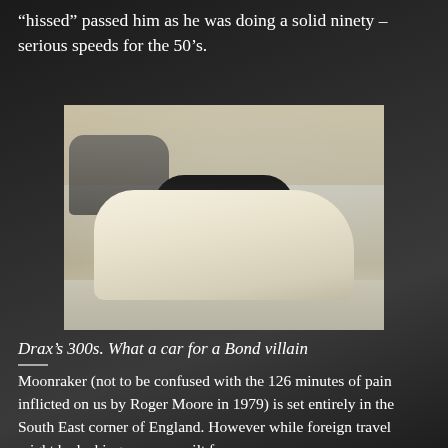“hissed” passed him as he was doing a solid ninety – serious speeds for the 50’s.
[Figure (photo): A cream/white Mercedes-Benz 300S convertible parked in a classic car showroom, with other vintage cars visible in the background.]
Drax’s 300s. What a car for a Bond villain
Moonraker (not to be confused with the 126 minutes of pain inflicted on us by Roger Moore in 1979) is set entirely in the South East corner of England. However while foreign travel might be lacking we are spoilt for